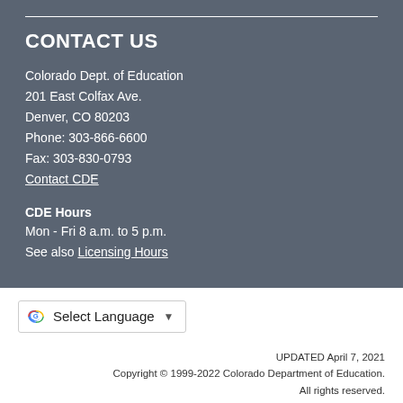CONTACT US
Colorado Dept. of Education
201 East Colfax Ave.
Denver, CO 80203
Phone: 303-866-6600
Fax: 303-830-0793
Contact CDE
CDE Hours
Mon - Fri 8 a.m. to 5 p.m.
See also Licensing Hours
[Figure (other): Google Translate Select Language widget with dropdown arrow]
UPDATED April 7, 2021
Copyright © 1999-2022 Colorado Department of Education. All rights reserved.
Title IX. Accessibility. Disclaimer. Privacy.